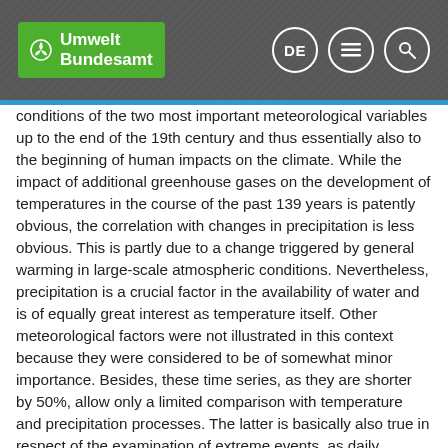Umwelt Bundesamt
conditions of the two most important meteorological variables up to the end of the 19th century and thus essentially also to the beginning of human impacts on the climate. While the impact of additional greenhouse gases on the development of temperatures in the course of the past 139 years is patently obvious, the correlation with changes in precipitation is less obvious. This is partly due to a change triggered by general warming in large-scale atmospheric conditions. Nevertheless, precipitation is a crucial factor in the availability of water and is of equally great interest as temperature itself. Other meteorological factors were not illustrated in this context because they were considered to be of somewhat minor importance. Besides, these time series, as they are shorter by 50%, allow only a limited comparison with temperature and precipitation processes. The latter is basically also true in respect of the examination of extreme events, as daily measuring values are required for such examinations. Nevertheless, owing to their high damage potential, it is precisely these events which represent the greatest threat to our society. It was therefore decided to carry out an analysis of changes